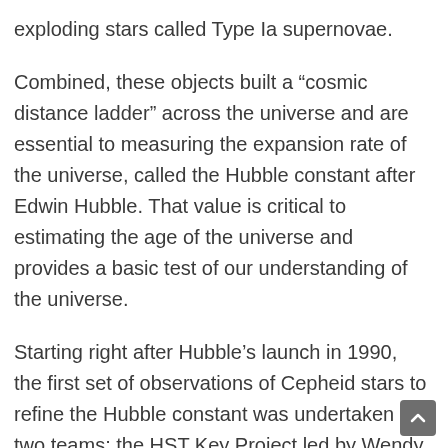exploding stars called Type Ia supernovae.
Combined, these objects built a “cosmic distance ladder” across the universe and are essential to measuring the expansion rate of the universe, called the Hubble constant after Edwin Hubble. That value is critical to estimating the age of the universe and provides a basic test of our understanding of the universe.
Starting right after Hubble’s launch in 1990, the first set of observations of Cepheid stars to refine the Hubble constant was undertaken by two teams: the HST Key Project led by Wendy Freedman, Robert Kennicutt and Jeremy Mould, Marc Aaronson and another by Allan Sandage and collaborators, that used Cepheids as milepost markers to refine the distance measurement to nearby galaxies. By the early 2000s the